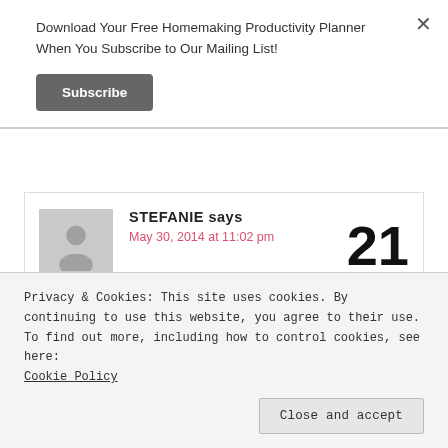Download Your Free Homemaking Productivity Planner When You Subscribe to Our Mailing List!
Subscribe
STEFANIE says
May 30, 2014 at 11:02 pm
21
and I am going to follow your lead and
Privacy & Cookies: This site uses cookies. By continuing to use this website, you agree to their use.
To find out more, including how to control cookies, see here:
Cookie Policy
Close and accept